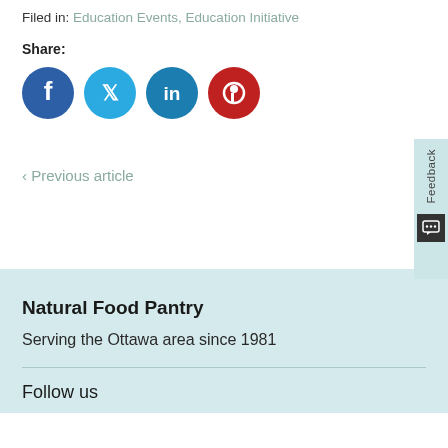Filed in: Education Events, Education Initiative
Share:
[Figure (infographic): Four social media icon buttons: Facebook (dark blue circle with f), Twitter (light blue circle with bird), LinkedIn (teal circle with in), Pinterest (red circle with P)]
< Previous article
Feedback
Natural Food Pantry
Serving the Ottawa area since 1981
Follow us